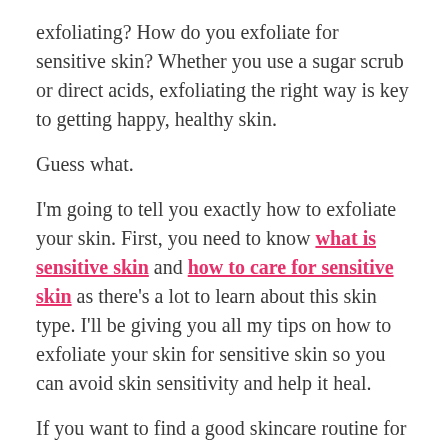exfoliating? How do you exfoliate for sensitive skin? Whether you use a sugar scrub or direct acids, exfoliating the right way is key to getting happy, healthy skin.
Guess what.
I'm going to tell you exactly how to exfoliate your skin. First, you need to know what is sensitive skin and how to care for sensitive skin as there's a lot to learn about this skin type. I'll be giving you all my tips on how to exfoliate your skin for sensitive skin so you can avoid skin sensitivity and help it heal.
If you want to find a good skincare routine for sensitive skin, then check out the best